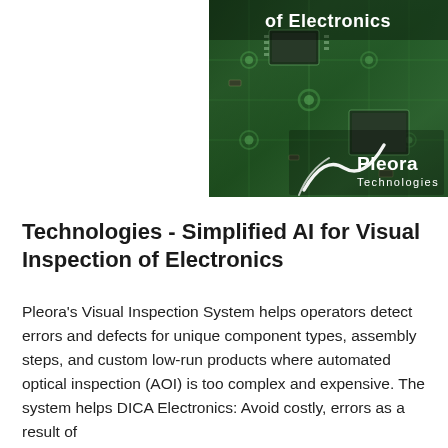[Figure (photo): Photo of green printed circuit boards (PCBs) with electronic components, overlaid with text 'of Electronics' at the top and the Pleora Technologies logo (stylized checkmark with brand name) at the bottom right.]
Technologies - Simplified AI for Visual Inspection of Electronics
Pleora's Visual Inspection System helps operators detect errors and defects for unique component types, assembly steps, and custom low-run products where automated optical inspection (AOI) is too complex and expensive. The system helps DICA Electronics: Avoid costly, errors as a result of